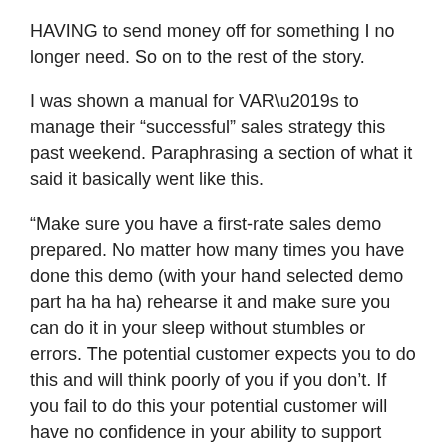HAVING to send money off for something I no longer need. So on to the rest of the story.
I was shown a manual for VAR’s to manage their “successful” sales strategy this past weekend. Paraphrasing a section of what it said it basically went like this.
“Make sure you have a first-rate sales demo prepared. No matter how many times you have done this demo (with your hand selected demo part ha ha ha) rehearse it and make sure you can do it in your sleep without stumbles or errors. The potential customer expects you to do this and will think poorly of you if you don’t. If you fail to do this your potential customer will have no confidence in your ability to support them.”